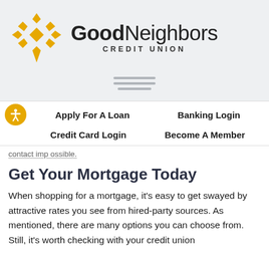[Figure (logo): GoodNeighbors Credit Union logo with gold geometric diamond/cross shape icon and bold text 'GoodNeighbors' with 'CREDIT UNION' below]
[Figure (other): Hamburger menu icon with three horizontal gray bars]
Apply For A Loan   Banking Login   Credit Card Login   Become A Member
contact imp ossible.
Get Your Mortgage Today
When shopping for a mortgage, it's easy to get swayed by attractive rates you see from hired-party sources. As mentioned, there are many options you can choose from. Still, it's worth checking with your credit union